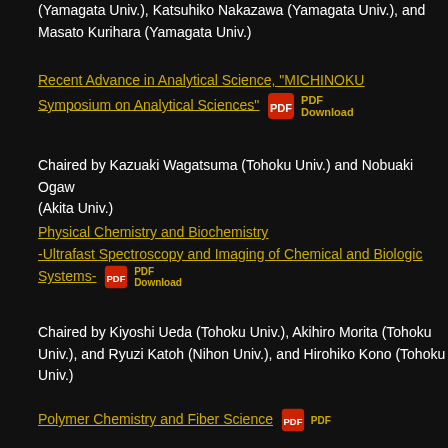(Yamagata Univ.), Katsuhiko Nakazawa (Yamagata Univ.), and Masato Kurihara (Yamagata Univ.)
Recent Advance in Analytical Science, "MICHINOKU Symposium on Analytical Sciences" [PDF Download]
Chaired by Kazuaki Wagatsuma (Tohoku Univ.) and Nobuaki Ogawa (Akita Univ.)
Physical Chemistry and Biochemistry -Ultrafast Spectroscopy and Imaging of Chemical and Biological Systems- [PDF Download]
Chaired by Kiyoshi Ueda (Tohoku Univ.), Akihiro Morita (Tohoku Univ.), and Ryuzi Katoh (Nihon Univ.), and Hirohiko Kono (Tohoku Univ.)
Organic Chemistry [PDF Download]
Chaired by Takayuki Doi (Tohoku Univ.) and Yuichi Yoshimura (Tohoku Pharmaceutical Univ.)
Polymer Chemistry and Fiber Science [PDF Download]